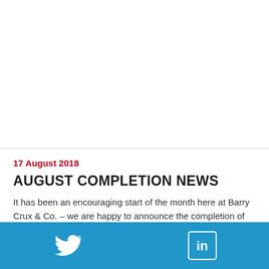17 August 2018
AUGUST COMPLETION NEWS
It has been an encouraging start of the month here at Barry Crux & Co. – we are happy to announce the completion of two sales, the Plough Inn, Wombleton and 2a Kettlestring Lane, Clifton Moor, York. Best wishes to all concerned. Read more
Twitter | LinkedIn